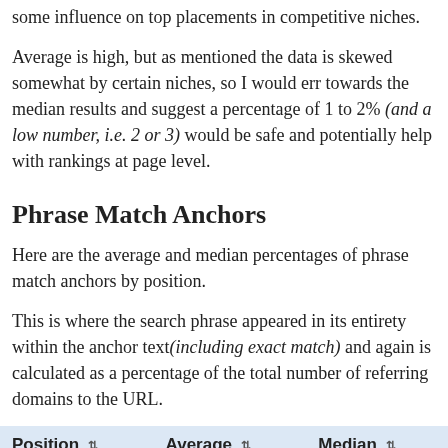some influence on top placements in competitive niches.
Average is high, but as mentioned the data is skewed somewhat by certain niches, so I would err towards the median results and suggest a percentage of 1 to 2% (and a low number, i.e. 2 or 3) would be safe and potentially help with rankings at page level.
Phrase Match Anchors
Here are the average and median percentages of phrase match anchors by position.
This is where the search phrase appeared in its entirety within the anchor text(including exact match) and again is calculated as a percentage of the total number of referring domains to the URL.
| Position | Average | Median |
| --- | --- | --- |
| 1 | 35.16% | 33.33% |